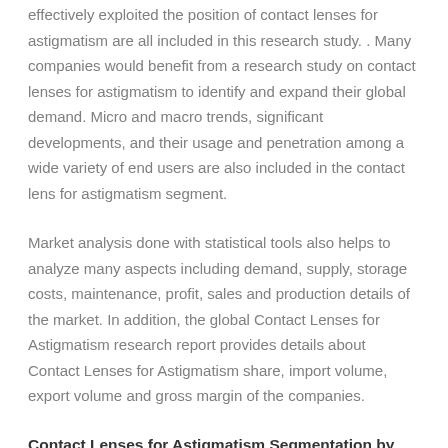effectively exploited the position of contact lenses for astigmatism are all included in this research study. . Many companies would benefit from a research study on contact lenses for astigmatism to identify and expand their global demand. Micro and macro trends, significant developments, and their usage and penetration among a wide variety of end users are also included in the contact lens for astigmatism segment.
Market analysis done with statistical tools also helps to analyze many aspects including demand, supply, storage costs, maintenance, profit, sales and production details of the market. In addition, the global Contact Lenses for Astigmatism research report provides details about Contact Lenses for Astigmatism share, import volume, export volume and gross margin of the companies.
Contact Lenses for Astigmatism Segmentation by Type:
Conventional hydrogel material, highly breathable silicone hydrogel.